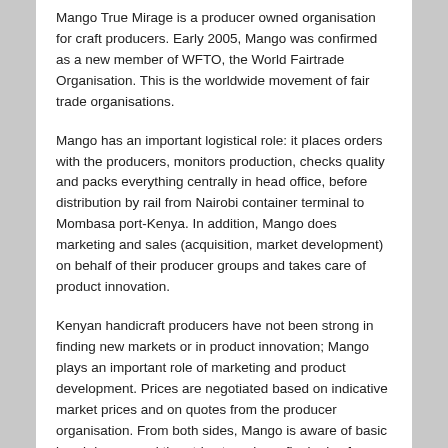Mango True Mirage is a producer owned organisation for craft producers. Early 2005, Mango was confirmed as a new member of WFTO, the World Fairtrade Organisation. This is the worldwide movement of fair trade organisations.
Mango has an important logistical role: it places orders with the producers, monitors production, checks quality and packs everything centrally in head office, before distribution by rail from Nairobi container terminal to Mombasa port-Kenya. In addition, Mango does marketing and sales (acquisition, market development) on behalf of their producer groups and takes care of product innovation.
Kenyan handicraft producers have not been strong in finding new markets or in product innovation; Mango plays an important role of marketing and product development. Prices are negotiated based on indicative market prices and on quotes from the producer organisation. From both sides, Mango is aware of basic breakdowns, and then tries to arrive a final price for ordering which is fair to all parties concerned.